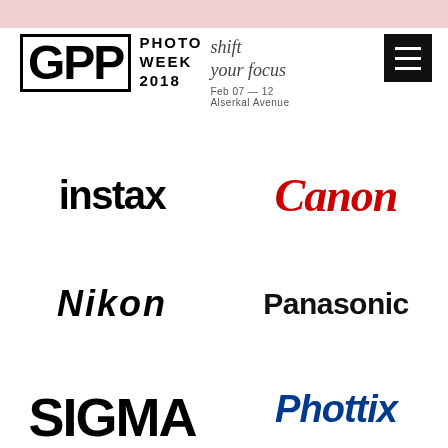[Figure (logo): GPP Photo Week 2018 logo with tagline 'shift your focus', date 'Feb 07 — 12', location 'Alserkal Avenue']
[Figure (logo): Hamburger menu button (three horizontal lines on black background)]
[Figure (logo): instax logo in bold black text]
[Figure (logo): Canon logo in red italic serif text]
[Figure (logo): Nikon logo in bold italic black text]
[Figure (logo): Panasonic logo in bold black text]
[Figure (logo): Sigma logo partially visible at bottom (cut off)]
[Figure (logo): Phottix logo partially visible at bottom in blue italic (cut off)]